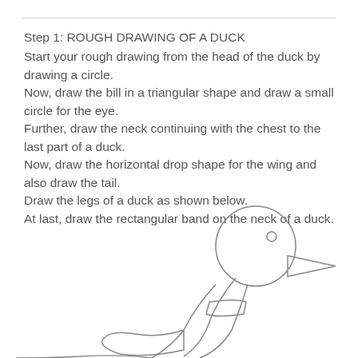Step 1: ROUGH DRAWING OF A DUCK
Start your rough drawing from the head of the duck by drawing a circle.
Now, draw the bill in a triangular shape and draw a small circle for the eye.
Further, draw the neck continuing with the chest to the last part of a duck.
Now, draw the horizontal drop shape for the wing and also draw the tail.
Draw the legs of a duck as shown below.
At last, draw the rectangular band on the neck of a duck.
[Figure (illustration): A rough line drawing of a duck showing the head (circle), bill (triangular shape), eye (small circle), neck, chest, wing (horizontal drop shape), tail, legs, and a rectangular band on the neck. The drawing is partially cropped at the bottom of the page.]